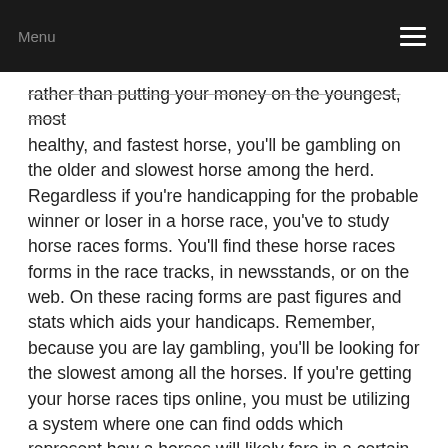Menu
rather than putting your money on the youngest, most healthy, and fastest horse, you'll be gambling on the older and slowest horse among the herd. Regardless if you're handicapping for the probable winner or loser in a horse race, you've to study horse races forms. You'll find these horse races forms in the race tracks, in newsstands, or on the web. On these racing forms are past figures and stats which aids your handicaps. Remember, because you are lay gambling, you'll be looking for the slowest among all the horses. If you're getting your horse races tips online, you must be utilizing a system where one can find odds which represent how a horses will likely fare in a certain race.
Chances are calculated numbers that give the probability